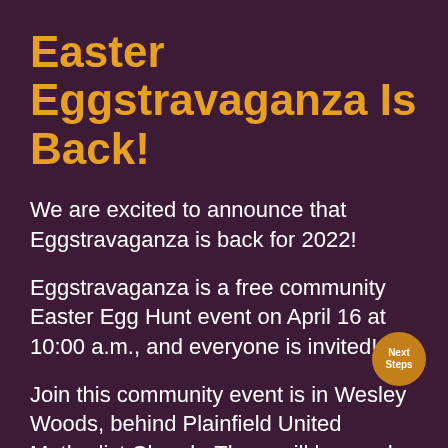Easter Eggstravaganza Is Back!
We are excited to announce that Eggstravaganza is back for 2022!
Eggstravaganza is a free community Easter Egg Hunt event on April 16 at 10:00 a.m., and everyone is invited!
Join this community event is in Wesley Woods, behind Plainfield United Methodist Church. There will be candy, crafts, Esau the Donkey, and more!
[Figure (logo): Circular orange badge with text 'Next Steps' in white]